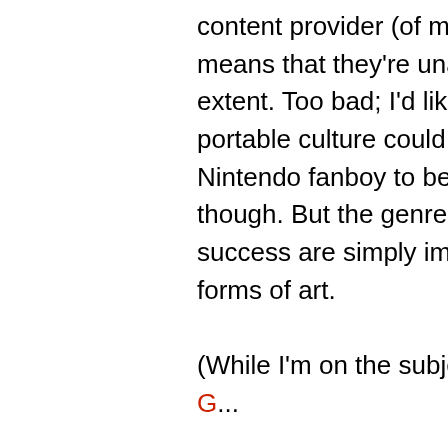content provider (of movies and music, not just games) means that they're unable to give up control to that extent. Too bad; I'd like to see what a good homebrew portable culture could come up with. I am enough of a Nintendo fanboy to be happy about Sony's mistakes, though. But the genre broadening implications of their success are simply important for the development of new forms of art.

(While I'm on the subject, I should mention this Lost ...